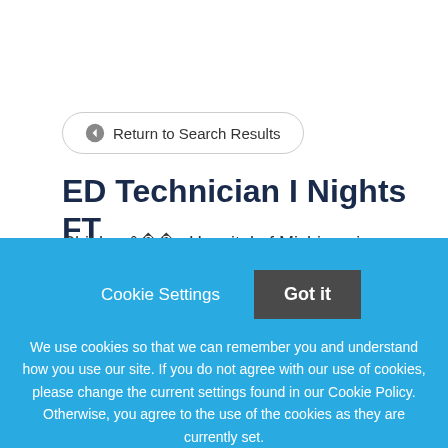← Return to Search Results
ED Technician I Nights FT
Childrenâ  s Hospital of Michigan is an international leader in pediatric and adolescent medicine. Surgical
Cookie Settings
Got it
We use cookies so that we can remember you and understand how you use our site. If you do not agree with our use of cookies, please change the current settings found in our Cookie Policy. Otherwise, you agree to the use of the cookies as they are currently set.